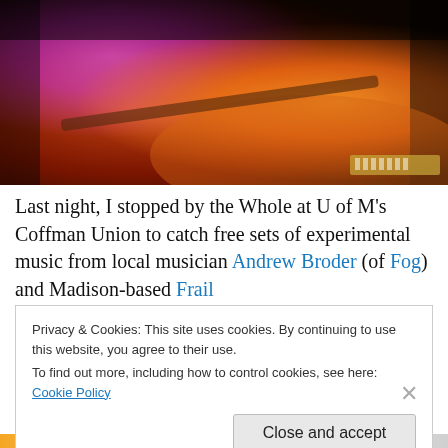[Figure (photo): A musician performing with electronic equipment, bathed in warm orange-red stage lighting, with a guitar visible and synthesizer/keyboard equipment on the floor. Purple lighting accent on left side.]
Last night, I stopped by the Whole at U of M's Coffman Union to catch free sets of experimental music from local musician Andrew Broder (of Fog) and Madison-based Frail
Privacy & Cookies: This site uses cookies. By continuing to use this website, you agree to their use.
To find out more, including how to control cookies, see here: Cookie Policy
Close and accept